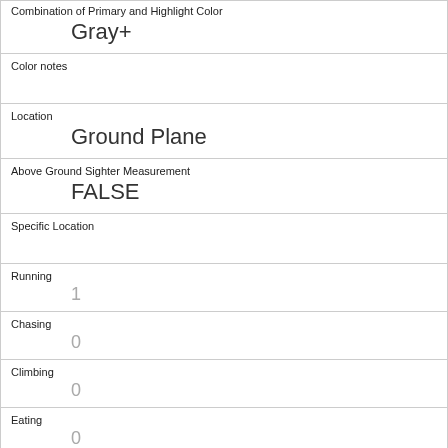| Combination of Primary and Highlight Color | Gray+ |
| Color notes |  |
| Location | Ground Plane |
| Above Ground Sighter Measurement | FALSE |
| Specific Location |  |
| Running | 1 |
| Chasing | 0 |
| Climbing | 0 |
| Eating | 0 |
| Foraging | 0 |
| Other Activities |  |